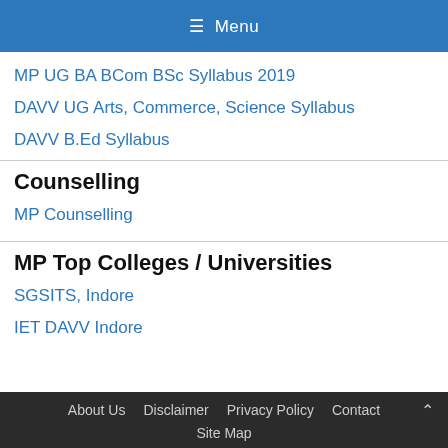≡ Menu
MP UG BA BCom BSc Syllabus 2019
DAVV UG Arts, Commerce, Science Syllabus
DAVV B.Ed Syllabus
Counselling
MP Counselling
MP Top Colleges / Universities
SGSITS, Indore
IET DAVV Indore
About Us   Disclaimer   Privacy Policy   Contact   Site Map